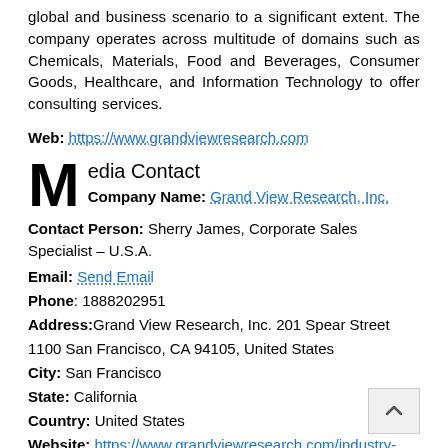global and business scenario to a significant extent. The company operates across multitude of domains such as Chemicals, Materials, Food and Beverages, Consumer Goods, Healthcare, and Information Technology to offer consulting services.
Web: https://www.grandviewresearch.com
Media Contact
Company Name: Grand View Research, Inc.
Contact Person: Sherry James, Corporate Sales Specialist – U.S.A.
Email: Send Email
Phone: 1888202951
Address: Grand View Research, Inc. 201 Spear Street 1100 San Francisco, CA 94105, United States
City: San Francisco
State: California
Country: United States
Website: https://www.grandviewresearch.com/industry-analysis/silane-market